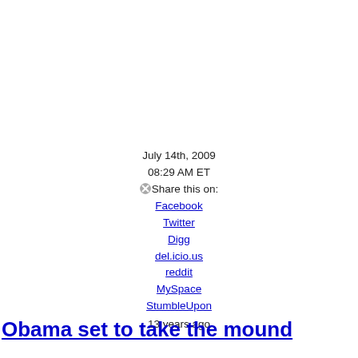July 14th, 2009
08:29 AM ET
Share this on:
Facebook
Twitter
Digg
del.icio.us
reddit
MySpace
StumbleUpon
13 years ago
Obama set to take the mound